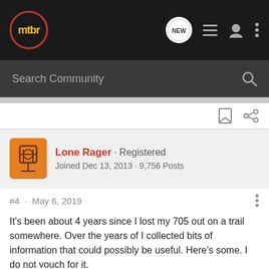[Figure (screenshot): MTBR forum website navigation bar with logo, search bar, and icons]
mtbr · NEW · Search Community
Lone Rager · Registered
Joined Dec 13, 2013 · 9,756 Posts
#4 · May 6, 2019
It's been about 4 years since I lost my 705 out on a trail somewhere. Over the years of I collected bits of information that could possibly be useful. Here's some. I do not vouch for it.
+++++++++++++++++++++++++++++++++++++++++++++++++++++++++++++++++
Check post #2: